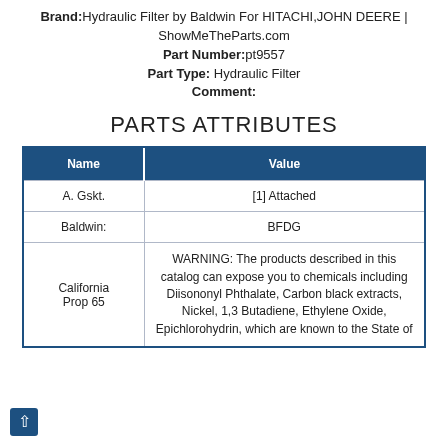Brand: Hydraulic Filter by Baldwin For HITACHI,JOHN DEERE | ShowMeTheParts.com
Part Number: pt9557
Part Type: Hydraulic Filter
Comment:
PARTS ATTRIBUTES
| Name | Value |
| --- | --- |
| A. Gskt. | [1] Attached |
| Baldwin: | BFDG |
| California Prop 65 | WARNING: The products described in this catalog can expose you to chemicals including Diisononyl Phthalate, Carbon black extracts, Nickel, 1,3 Butadiene, Ethylene Oxide, Epichlorohydrin, which are known to the State of |